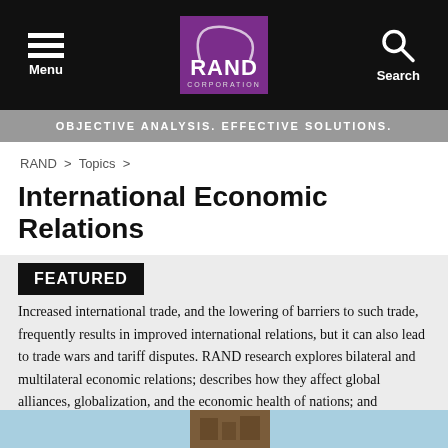[Figure (logo): RAND Corporation navigation bar with hamburger menu on left, RAND Corporation purple logo in center, search icon on right, all on black background]
OBJECTIVE ANALYSIS. EFFECTIVE SOLUTIONS.
RAND > Topics >
International Economic Relations
FEATURED
Increased international trade, and the lowering of barriers to such trade, frequently results in improved international relations, but it can also lead to trade wars and tariff disputes. RAND research explores bilateral and multilateral economic relations; describes how they affect global alliances, globalization, and the economic health of nations; and recommends methods to develop, encourage, and maintain these relations among diverse nations and cultures.
[Figure (photo): Partial image strip at bottom of page with light blue background and brownish building/photo element]